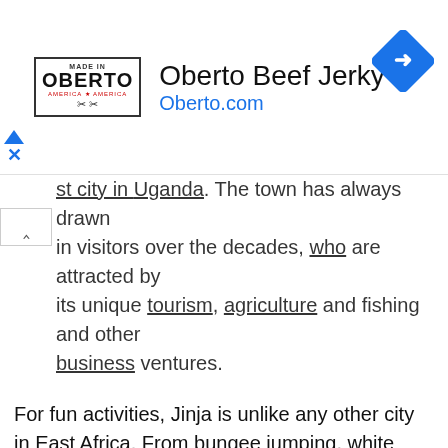[Figure (advertisement): Oberto Beef Jerky advertisement banner with logo, brand name, website URL Oberto.com, and a blue diamond-shaped navigation icon on the right. Left side has a small triangle/arrow and X icon.]
st city in Uganda. The town has always drawn in visitors over the decades, who are attracted by its unique tourism, agriculture and fishing and other business ventures.
For fun activities, Jinja is unlike any other city in East Africa. From bungee jumping, white water rafting, fishing, kayaking, boat cruises, bird watching, visits to museums and islands, to bike riding or just lounging at the city's lodges and hotels, Jinja has it all.
With vast lush vegetation around the town, including the famous Mabira forest plus the many